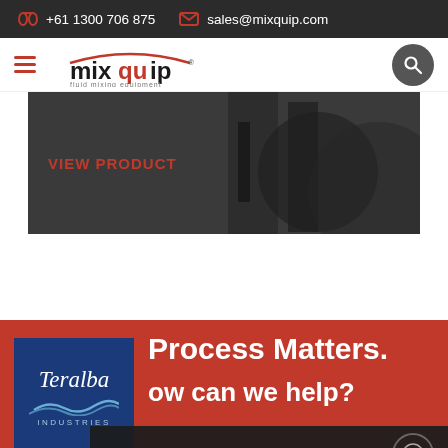+61 1300 706 875  sales@mixquip.com
[Figure (logo): Mixquip fluid mixing equipment logo with hamburger menu and search button]
[Figure (photo): Dark industrial mixer product photo with 'VIEW PRODUCT' button overlay]
VIEW PRODUCT
[Figure (logo): Teralba Industries logo - blue box with italic text and wave graphic]
Process Matters.
How can we help?
Request a call back from an Engineer
Get In Touch